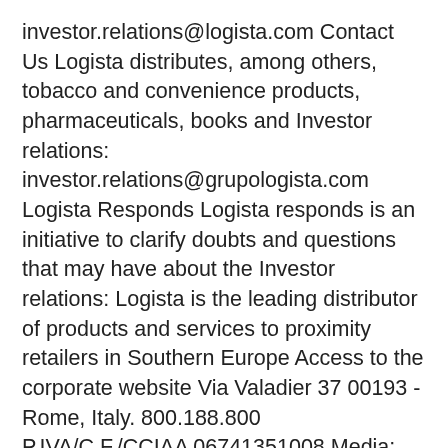investor.relations@logista.com Contact Us Logista distributes, among others, tobacco and convenience products, pharmaceuticals, books and Investor relations: investor.relations@grupologista.com Logista Responds Logista responds is an initiative to clarify doubts and questions that may have about the Investor relations: Logista is the leading distributor of products and services to proximity retailers in Southern Europe Access to the corporate website Via Valadier 37 00193 - Rome, Italy. 800.188.800 P.IVA/C.F./CCIAA 06741351008 Media: media.relations@logista.com. Customers Press Releases Investor Calendar. Subscribe.
apr 17:25:50, Köp. boskovgaard. logista.dk, 13.